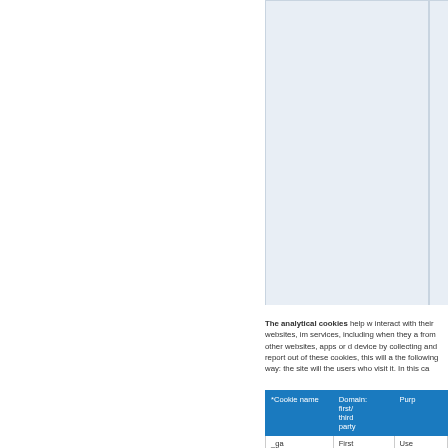[Figure (table-as-image): Partial table with light blue background visible at top right of page, continuation from previous page]
The analytical cookies help websites to understand how visitors interact with their websites, improve and develop the quality of their services, including when they access their sites and services from other websites, apps or devices, on a website or mobile device by collecting and reporting information. If the user opts out of these cookies, this will affect the site analytics in the following way: the site will no longer know how many of the users who visit it. In this ca
| *Cookie name | Domain: first/ third party | Purp |
| --- | --- | --- |
| _ga
( GOOGLE | First party | Use
GOO
AN/ |